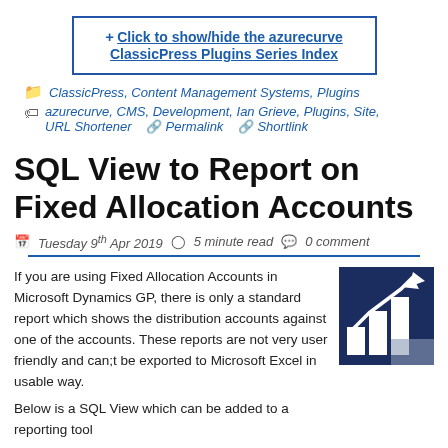+ Click to show/hide the azurecurve ClassicPress Plugins Series Index
ClassicPress, Content Management Systems, Plugins
azurecurve, CMS, Development, Ian Grieve, Plugins, Site, URL Shortener   Permalink   Shortlink
SQL View to Report on Fixed Allocation Accounts
Tuesday 9th Apr 2019   5 minute read   0 comment
If you are using Fixed Allocation Accounts in Microsoft Dynamics GP, there is only a standard report which shows the distribution accounts against one of the accounts. These reports are not very user friendly and can;t be exported to Microsoft Excel in usable way.
[Figure (illustration): Dark blue square icon with white bar chart and upward trending arrow graphic]
Below is a SQL View which can be added to a reporting tool